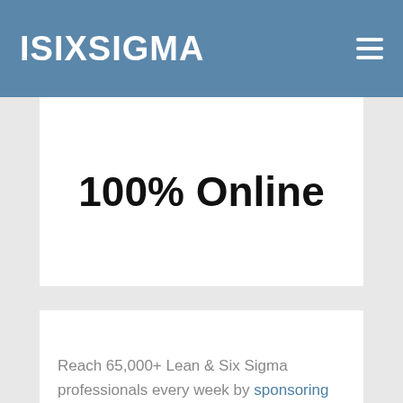ISIXSIGMA
100% Online
Reach 65,000+ Lean & Six Sigma professionals every week by sponsoring our newsletter. Click to learn how.
[Figure (logo): iSixSigma logo in white text on dark navy background, with a mirror reflection below]